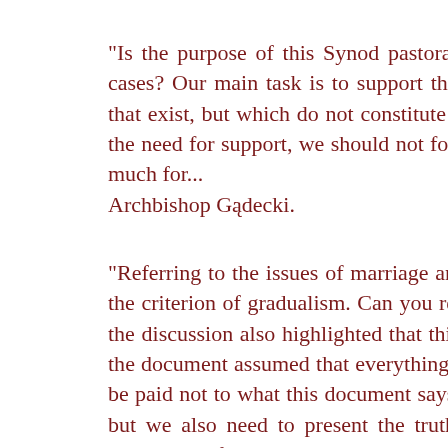"Is the purpose of this Synod pastoral support to families in difficult cases, or the care of special cases? Our main task is to support the family pastorally. We cannot forget these difficult situations that exist, but which do not constitute the majority. Even though they [the special cases] do not void the need for support, we should not forget about normal, ordinary families, who are struggling not so much for... Archbishop Gądecki.
"Referring to the issues of marriage and family, certain criteria were called into doubt. For example, the criterion of gradualism. Can you really speak of gradual progress on the path to holiness? Today, the discussion also highlighted that this part of the document is marked by the omission of sin. As if the document assumed that everything was imperfection which leads to perfection... Attention should be paid not to what this document says, but to what it does not say. Speak about mercy - absolutely - but we also need to present the truth. Also, the points that speak of the divorced and remarried couples are formulated somewhat as if this situation is being presented positively, whereas this text, which should be an incentive to fidelity, family values... almost accepts everything as it is. It created an impression that the teaching of...